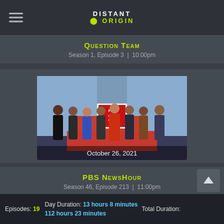DISTANT ORIGIN
Question Team
Season 1, Episode 3  |  10:00pm
[Figure (photo): Group photo of PBS NewsHour anchors and correspondents standing in the studio, with the PBS NewsHour logo visible. Date shown: October 26, 2021]
October 26, 2021
PBS NewsHour
Season 46, Episode 213  |  11:00pm
Episodes: 19  Day Duration: 13 hours 8 minutes  112 hours 23 minutes  Total Duration:  BACK TOP